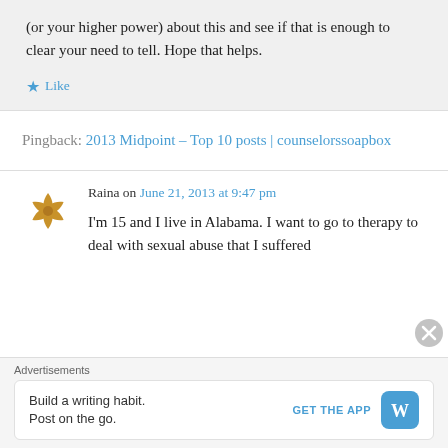(or your higher power) about this and see if that is enough to clear your need to tell. Hope that helps.
Like
Pingback: 2013 Midpoint – Top 10 posts | counselorssoapbox
Raina on June 21, 2013 at 9:47 pm
I'm 15 and I live in Alabama. I want to go to therapy to deal with sexual abuse that I suffered
Advertisements
Build a writing habit. Post on the go.
GET THE APP